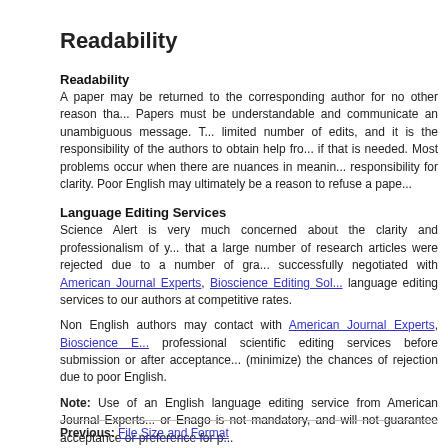Readability
Readability
A paper may be returned to the corresponding author for no other reason tha... Papers must be understandable and communicate an unambiguous message. The editors can do a limited number of edits, and it is the responsibility of the authors to obtain help from a language editor if that is needed. Most problems occur when there are nuances in meaning... responsibility for clarity. Poor English may ultimately be a reason to refuse a pape...
Language Editing Services
Science Alert is very much concerned about the clarity and professionalism of y... that a large number of research articles were rejected due to a number of gra... successfully negotiated with American Journal Experts, Bioscience Editing Sol... language editing services to our authors at competitive rates.
Non English authors may contact with American Journal Experts, Bioscience E... professional scientific editing services before submission or after acceptance... (minimize) the chances of rejection due to poor English.
Note: Use of an English language editing service from American Journal Experts... or Enago is not mandatory, and will not guarantee acceptance or preference for p...
Previous: File Size and Format